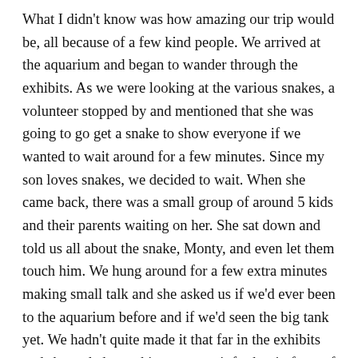What I didn't know was how amazing our trip would be, all because of a few kind people. We arrived at the aquarium and began to wander through the exhibits. As we were looking at the various snakes, a volunteer stopped by and mentioned that she was going to go get a snake to show everyone if we wanted to wait around for a few minutes. Since my son loves snakes, we decided to wait. When she came back, there was a small group of around 5 kids and their parents waiting on her. She sat down and told us all about the snake, Monty, and even let them touch him. We hung around for a few extra minutes making small talk and she asked us if we'd ever been to the aquarium before and if we'd seen the big tank yet. We hadn't quite made it that far in the exhibits and she ended up asking us to wait for her in front of the tank. When she came back from putting the snake away, she offered to take us behind the scenes to look at the tank from the top. Since I'd mentioned that we homeschool, she made sure to let me know about the homeschool programs that the aquarium offers and even got me card with the contact information of the